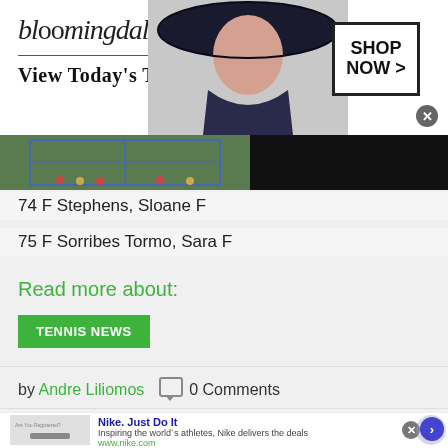[Figure (screenshot): Bloomingdales advertisement banner: logo text 'bloomingdales', tagline 'View Today's Top Deals!', woman in large hat, 'SHOP NOW >' button in box]
[Figure (screenshot): Tennis court aerial view with score overlay, right side black]
74 F Stephens, Sloane F
75 F Sorribes Tormo, Sara F
Read more about:
TENNIS NEWS
by Andre Liliomos   0 Comments
[Figure (screenshot): Nike advertisement: 'Nike. Just Do It' with description 'Inspiring the world's athletes, Nike delivers the deals' and URL www.nike.com, with navigation arrow button]